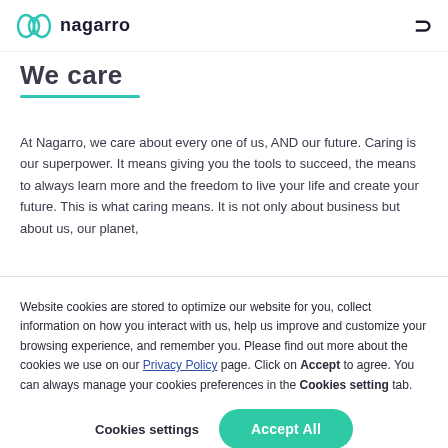nagarro
We care
At Nagarro, we care about every one of us, AND our future. Caring is our superpower. It means giving you the tools to succeed, the means to always learn more and the freedom to live your life and create your future. This is what caring means. It is not only about business but about us, our planet,
Website cookies are stored to optimize our website for you, collect information on how you interact with us, help us improve and customize your browsing experience, and remember you. Please find out more about the cookies we use on our Privacy Policy page. Click on Accept to agree. You can always manage your cookies preferences in the Cookies setting tab.